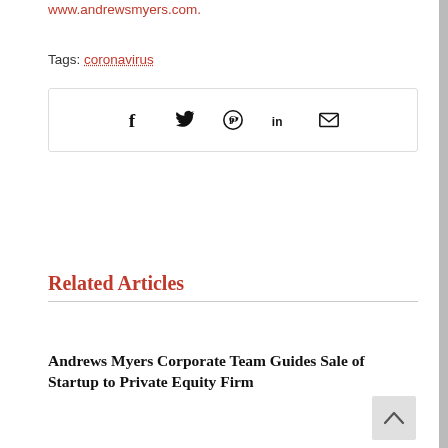www.andrewsmyers.com.
Tags: coronavirus
[Figure (other): Social share bar with icons for Facebook, Twitter, Pinterest, LinkedIn, and Email]
Related Articles
Andrews Myers Corporate Team Guides Sale of Startup to Private Equity Firm